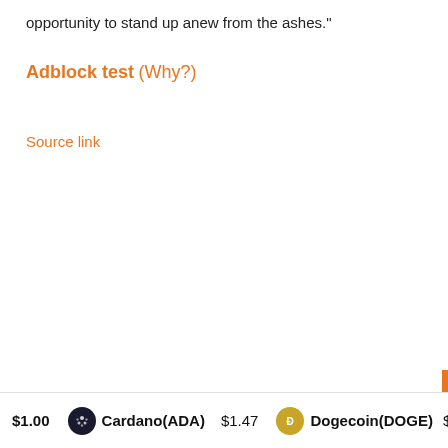opportunity to stand up anew from the ashes."
Adblock test (Why?)
Source link
$1.00   Cardano(ADA) $1.47   Dogecoin(DOGE) $0.306025